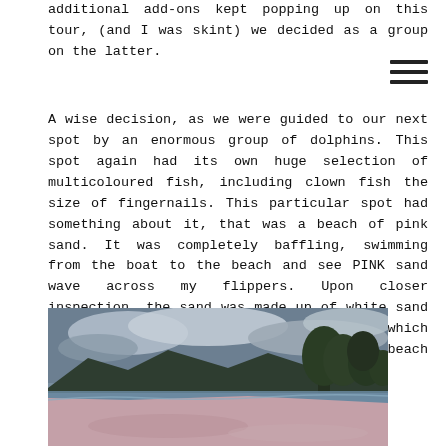additional add-ons kept popping up on this tour, (and I was skint) we decided as a group on the latter.
A wise decision, as we were guided to our next spot by an enormous group of dolphins. This spot again had its own huge selection of multicoloured fish, including clown fish the size of fingernails. This particular spot had something about it, that was a beach of pink sand. It was completely baffling, swimming from the boat to the beach and see PINK sand wave across my flippers. Upon closer inspection, the sand was made up of white sand and red specs of broken up red coral which were dragged in by the waves, giving the beach an entirely pink hue.
[Figure (photo): A beach with pinkish sand under an overcast sky, with trees and hills in the background and calm water in the foreground.]